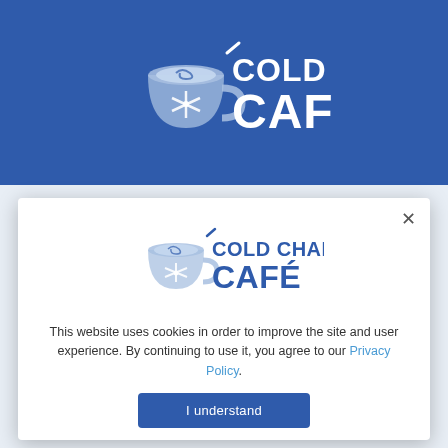[Figure (logo): Cold Chain Café logo — blue background banner with white text and a coffee cup icon featuring a snowflake]
[Figure (logo): Cold Chain Café logo — smaller version in blue on white modal background]
This website uses cookies in order to improve the site and user experience. By continuing to use it, you agree to our Privacy Policy.
I understand